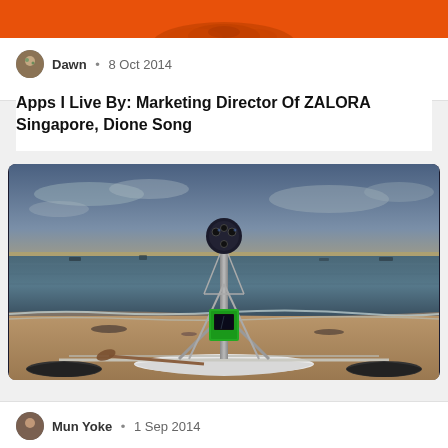[Figure (photo): Top banner with orange background and partial image of bowls/dishes]
Dawn • 8 Oct 2014
Apps I Live By: Marketing Director Of ZALORA Singapore, Dione Song
[Figure (photo): A Google Street View trekker mounted on a outrigger kayak/canoe on a beach at sunset, with sea and cloudy sky in background]
Mun Yoke • 1 Sep 2014